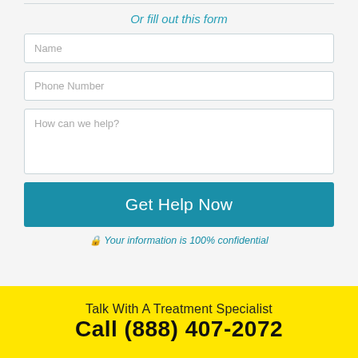Or fill out this form
Name
Phone Number
How can we help?
Get Help Now
Your information is 100% confidential
Talk With A Treatment Specialist
Call (888) 407-2072